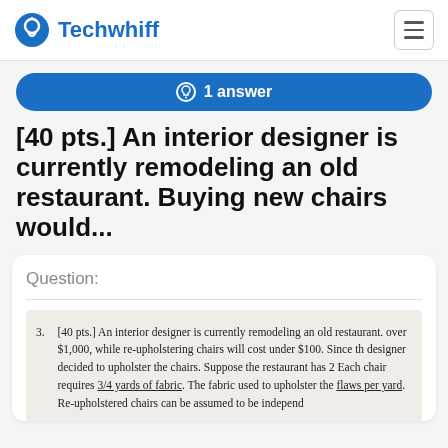Techwhiff
1 answer
[40 pts.] An interior designer is currently remodeling an old restaurant. Buying new chairs would...
Question:
3. [40 pts.] An interior designer is currently remodeling an old restaurant. over $1,000, while re-upholstering chairs will cost under $100. Since th designer decided to upholster the chairs. Suppose the restaurant has 2 Each chair requires 3/4 yards of fabric. The fabric used to upholster the flaws per yard. Re-upholstered chairs can be assumed to be independ...